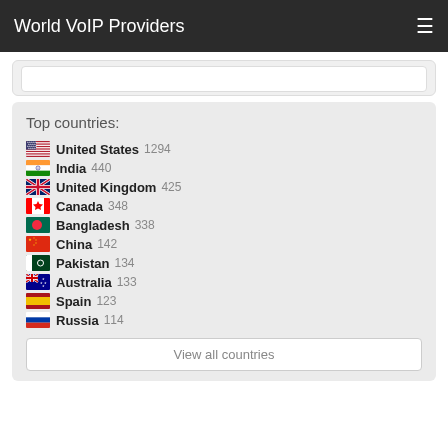World VoIP Providers
Top countries:
United States 1294
India 440
United Kingdom 425
Canada 348
Bangladesh 338
China 142
Pakistan 134
Australia 133
Spain 123
Russia 114
View all countries